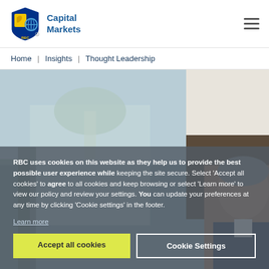RBC Capital Markets
Home | Insights | Thought Leadership
[Figure (photo): Background photo showing a government building and a person in a suit on the right side]
RBC uses cookies on this website as they help us to provide the best possible user experience while keeping the site secure. Select 'Accept all cookies' to agree to all cookies and keep browsing or select 'Learn more' to view our policy and review your settings. You can update your preferences at any time by clicking 'Cookie settings' in the footer.
Learn more
Accept all cookies
Cookie Settings